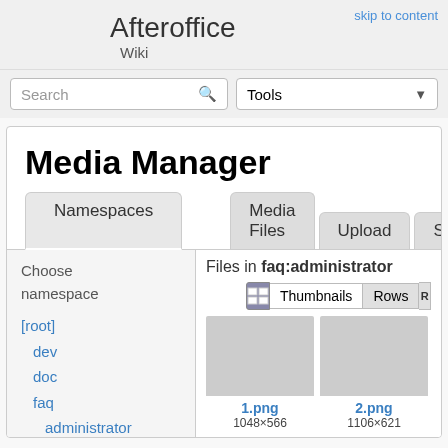skip to content
Afteroffice
Wiki
Search
Tools
Media Manager
Namespaces
Media Files  Upload  Search
Files in faq:administrator
Thumbnails  Rows
[root]
dev
doc
faq
administrator
adjust_email
quota
1.png
1048×566
2.png
1106×621